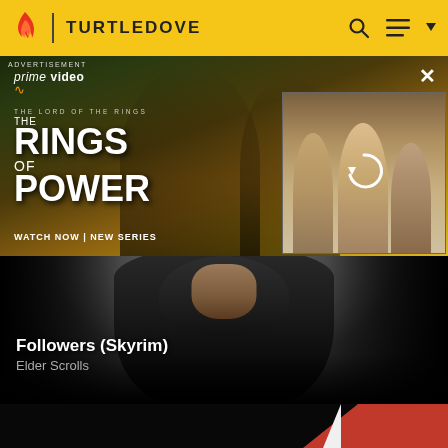TURTLEDOVE
[Figure (screenshot): Amazon Prime Video advertisement for The Lord of the Rings: The Rings of Power. Left panel shows two characters from the show against a landscape background. Right panel shows a group of characters with a reload/refresh icon overlay. Text reads: prime video, THE LORD OF THE RINGS, THE RINGS OF POWER, WATCH NOW | NEW SERIES. An X close button appears in the top right.]
[Figure (screenshot): Skyrim follower character with dark hood, facing viewer. Dark atmospheric background fading from gray at top to black at bottom. Text overlay reads: Followers (Skyrim) and Elder Scrolls]
Followers (Skyrim)
Elder Scrolls
[Figure (screenshot): Partially visible bottom section with black background and red diagonal accent stripe on the right side.]